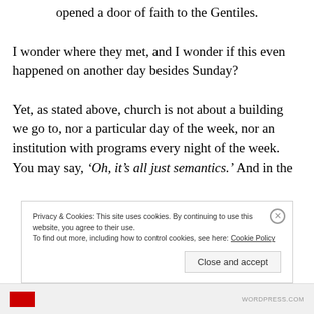opened a door of faith to the Gentiles.
I wonder where they met, and I wonder if this even happened on another day besides Sunday?
Yet, as stated above, church is not about a building we go to, nor a particular day of the week, nor an institution with programs every night of the week. You may say, ‘Oh, it’s all just semantics.’ And in the
Privacy & Cookies: This site uses cookies. By continuing to use this website, you agree to their use.
To find out more, including how to control cookies, see here: Cookie Policy
Close and accept